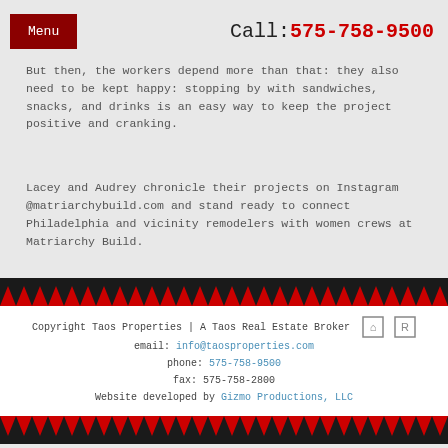Menu | Call: 575-758-9500
But then, the workers depend more than that: they also need to be kept happy. stopping by with sandwiches, snacks, and drinks is an easy way to keep the project positive and cranking.
Lacey and Audrey chronicle their projects on Instagram @matriarchybuild.com and stand ready to connect Philadelphia and vicinity remodelers with women crews at Matriarchy Build.
Copyright Taos Properties | A Taos Real Estate Broker
email: info@taosproperties.com
phone: 575-758-9500
fax: 575-758-2800
Website developed by Gizmo Productions, LLC